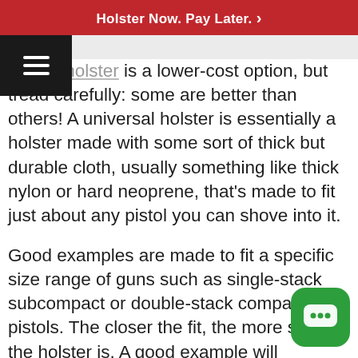Holster Now. Pay Later. >
universal holster is a lower-cost option, but tread carefully: some are better than others! A universal holster is essentially a holster made with some sort of thick but durable cloth, usually something like thick nylon or hard neoprene, that's made to fit just about any pistol you can shove into it.
Good examples are made to fit a specific size range of guns such as single-stack subcompact or double-stack compact pistols. The closer the fit, the more secure the holster is. A good example will also a protective layer that ensures the trigger
[Figure (illustration): Green rounded square chat bubble icon with three dots (ellipsis) indicating a messaging/chat widget button]